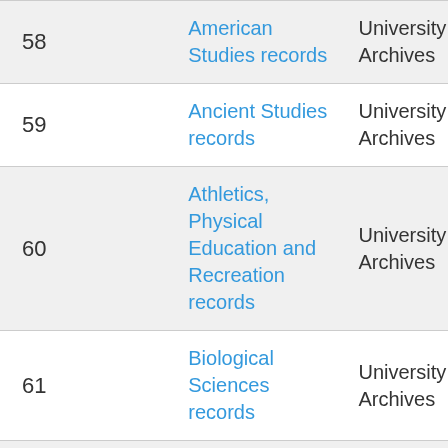| # | Name | Location |
| --- | --- | --- |
| 58 | American Studies records | University Archives |
| 59 | Ancient Studies records | University Archives |
| 60 | Athletics, Physical Education and Recreation records | University Archives |
| 61 | Biological Sciences records | University Archives |
| 62 | Board of Regents records | University Archives |
| 63 | Career Services Center records | University Archives |